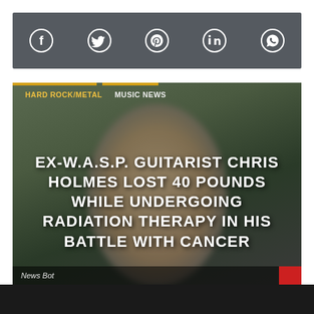[Figure (other): Social media sharing bar with icons for Facebook, Twitter, Pinterest, LinkedIn, and WhatsApp on a dark grey background]
[Figure (photo): Background photo of a man outdoors with green foliage, article thumbnail image with category labels 'HARD ROCK/METAL' and 'MUSIC NEWS' overlaid at the top, and headline text 'EX-W.A.S.P. GUITARIST CHRIS HOLMES LOST 40 POUNDS WHILE UNDERGOING RADIATION THERAPY IN HIS BATTLE WITH CANCER' overlaid in white bold uppercase letters]
News Bot